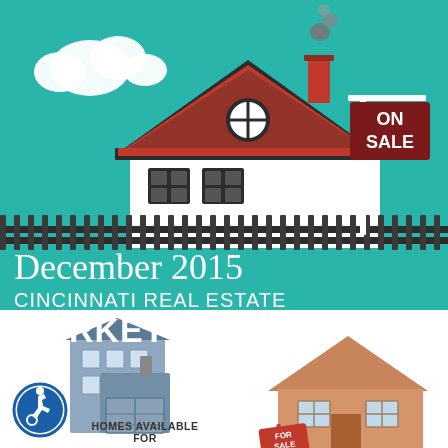[Figure (illustration): Teal background infographic cover showing a house with red and black roof, chimney with smoke, an 'ON SALE' real estate sign, a fence, white clouds, and decorative elements for a real estate market report.]
December 2015
CINCINNATI REAL ESTATE
MARKET REPORT
[Figure (illustration): Bottom-left: two-story light blue/grey house with wheelchair accessibility symbol icon, labeled 'HOMES AVAILABLE FOR' (text cut off).]
[Figure (illustration): Bottom-right: a tan/brown house with a red 'FOR SALE' sign in front of it.]